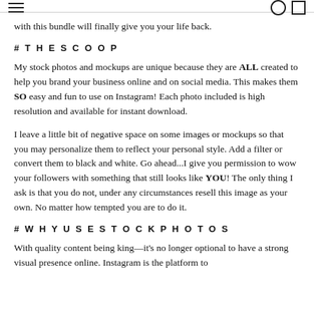with this bundle will finally give you your life back.
#THESCOOP
My stock photos and mockups are unique because they are ALL created to help you brand your business online and on social media. This makes them SO easy and fun to use on Instagram! Each photo included is high resolution and available for instant download.
I leave a little bit of negative space on some images or mockups so that you may personalize them to reflect your personal style. Add a filter or convert them to black and white. Go ahead...I give you permission to wow your followers with something that still looks like YOU! The only thing I ask is that you do not, under any circumstances resell this image as your own. No matter how tempted you are to do it.
#WHYUSESTOCKPHOTOS
With quality content being king—it's no longer optional to have a strong visual presence online. Instagram is the platform to